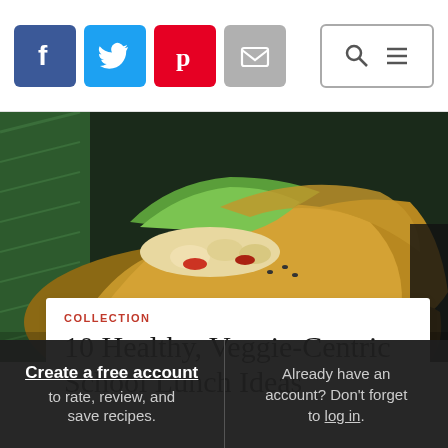Social share icons (Facebook, Twitter, Pinterest, Email), Search and Menu buttons
[Figure (photo): Close-up photo of a veggie wrap sandwich in brown paper, filled with lettuce, vegetables and grains, with a green lunch bag in background]
COLLECTION
10 Healthy, Veggie-Centric School Lunch Ideas
Create a free account to rate, review, and save recipes.
Already have an account? Don't forget to log in.